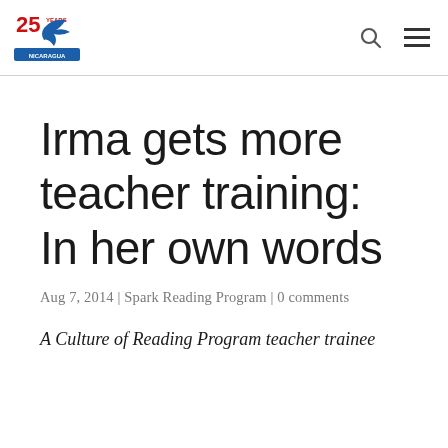[Logo: 25 years organization mark] [search icon] [menu icon]
Irma gets more teacher training: In her own words
Aug 7, 2014 | Spark Reading Program | 0 comments
A Culture of Reading Program teacher trainee